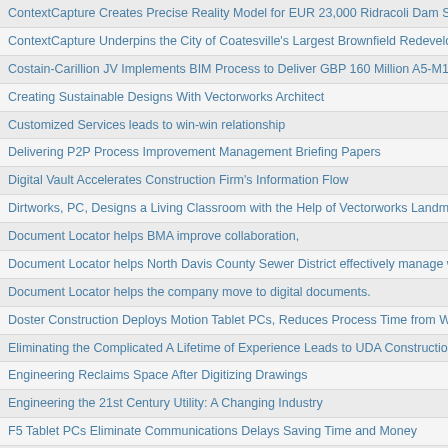ContextCapture Creates Precise Reality Model for EUR 23,000 Ridracoli Dam Survey Project
ContextCapture Underpins the City of Coatesville's Largest Brownfield Redevelopment
Costain-Carillion JV Implements BIM Process to Deliver GBP 160 Million A5-M1 Link Road
Creating Sustainable Designs With Vectorworks Architect
Customized Services leads to win-win relationship
Delivering P2P Process Improvement Management Briefing Papers
Digital Vault Accelerates Construction Firm's Information Flow
Dirtworks, PC, Designs a Living Classroom with the Help of Vectorworks Landmark
Document Locator helps BMA improve collaboration,
Document Locator helps North Davis County Sewer District effectively manage water testing and an
Document Locator helps the company move to digital documents.
Doster Construction Deploys Motion Tablet PCs, Reduces Process Time from Weeks to Just Days
Eliminating the Complicated A Lifetime of Experience Leads to UDA ConstructionSuite
Engineering Reclaims Space After Digitizing Drawings
Engineering the 21st Century Utility: A Changing Industry
F5 Tablet PCs Eliminate Communications Delays Saving Time and Money
Finding a Better Way to Work with Vectorworks Adobe PDF Support
First National Bank of Omaha— In Their Own Words
Fitzpatrick Engineering Group Uses Bentley BIM Software for Major Structural Design Project
From Builder to Businessman UDA ConstructionOffice Transforms Third-Generation North Carolina
From Small Time to Prime Time ConstructionSuite User Featured on HGTV's Televison Show "Curb
GFA Process Engineering France Uses ProjectWise to Drive Global Project Collaboration and Bus